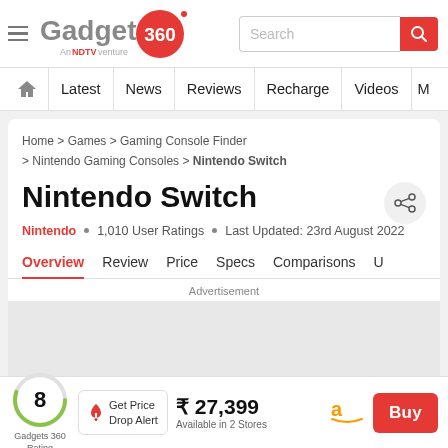Gadgets 360 - An NDTV venture | Search
Latest | News | Reviews | Recharge | Videos | More
Home > Games > Gaming Console Finder > Nintendo Gaming Consoles > Nintendo Switch
Nintendo Switch
Nintendo • 1,010 User Ratings • Last Updated: 23rd August 2022
Overview | Review | Price | Specs | Comparisons
Advertisement
8 Gadgets 360 Rating
Get Price Drop Alert
₹ 27,399 Available in 2 Stores
Buy